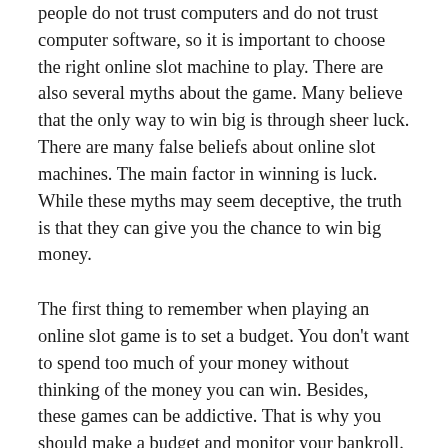people do not trust computers and do not trust computer software, so it is important to choose the right online slot machine to play. There are also several myths about the game. Many believe that the only way to win big is through sheer luck. There are many false beliefs about online slot machines. The main factor in winning is luck. While these myths may seem deceptive, the truth is that they can give you the chance to win big money.
The first thing to remember when playing an online slot game is to set a budget. You don't want to spend too much of your money without thinking of the money you can win. Besides, these games can be addictive. That is why you should make a budget and monitor your bankroll. You can also set up a budget to keep track of your winnings and losses. You can start with a small budget and gradually increase the amount of money you invest.